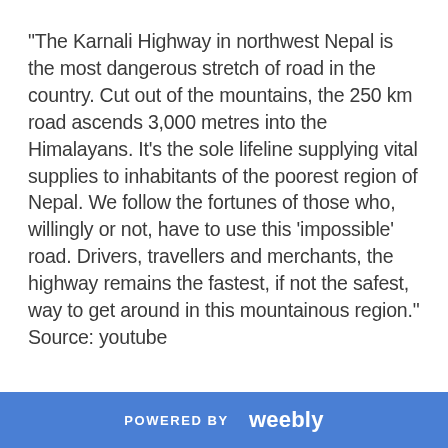"The Karnali Highway in northwest Nepal is the most dangerous stretch of road in the country. Cut out of the mountains, the 250 km road ascends 3,000 metres into the Himalayans. It's the sole lifeline supplying vital supplies to inhabitants of the poorest region of Nepal. We follow the fortunes of those who, willingly or not, have to use this 'impossible' road. Drivers, travellers and merchants, the highway remains the fastest, if not the safest, way to get around in this mountainous region." Source: youtube
POWERED BY weebly